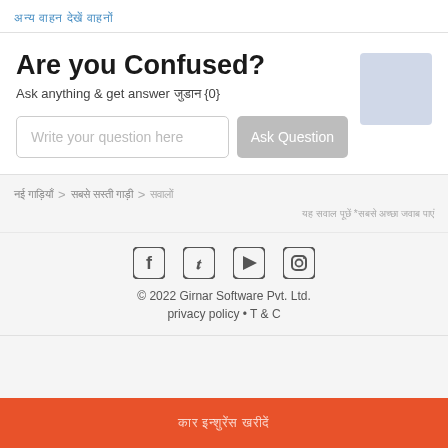[Hindi text link]
Are you Confused?
Ask anything & get answer [Hindi] {0}
Write your question here | Ask Question
[Hindi breadcrumb] > [Hindi breadcrumb] > [Hindi]
[Hindi disclaimer text]
[Figure (other): Social media icons: Facebook, Twitter, YouTube, Instagram]
© 2022 Girnar Software Pvt. Ltd.
privacy policy • T & C
[Hindi button text]